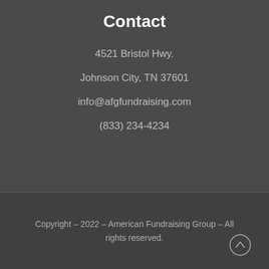Contact
4521 Bristol Hwy.
Johnson City, TN 37601
info@afgfundraising.com
(833) 234-4234
Copyright - 2022 - American Fundraising Group - All rights reserved.